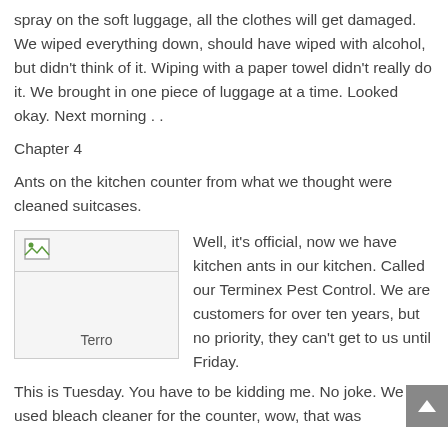spray on the soft luggage, all the clothes will get damaged. We wiped everything down, should have wiped with alcohol, but didn't think of it. Wiping with a paper towel didn't really do it. We brought in one piece of luggage at a time. Looked okay. Next morning . .
Chapter 4
Ants on the kitchen counter from what we thought were cleaned suitcases.
[Figure (photo): A placeholder/broken image thumbnail labeled 'Terro']
Well, it's official, now we have kitchen ants in our kitchen. Called our Terminex Pest Control. We are customers for over ten years, but no priority, they can't get to us until Friday.
This is Tuesday. You have to be kidding me. No joke. We used bleach cleaner for the counter, wow, that was